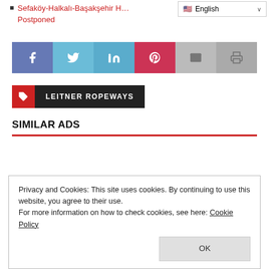Sefaköy-Halkalı-Başakşehir H... Postponed
[Figure (infographic): Social media share buttons: Facebook, Twitter, LinkedIn, Pinterest, Email, Print]
[Figure (infographic): Tag icon (red) followed by LEITNER ROPEWAYS label on dark background]
SIMILAR ADS
Privacy and Cookies: This site uses cookies. By continuing to use this website, you agree to their use. For more information on how to check cookies, see here: Cookie Policy